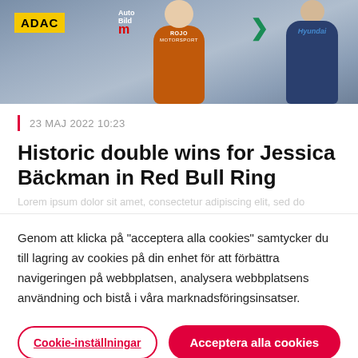[Figure (photo): Photo of a motorsport podium scene with ADAC and Auto Bild logos visible, a person in orange racing gear center, and a Hyundai-branded person on the right]
23 MAJ 2022 10:23
Historic double wins for Jessica Bäckman in Red Bull Ring
Genom att klicka på "acceptera alla cookies" samtycker du till lagring av cookies på din enhet för att förbättra navigeringen på webbplatsen, analysera webbplatsens användning och bistå i våra marknadsföringsinsatser.
Cookie-inställningar
Acceptera alla cookies